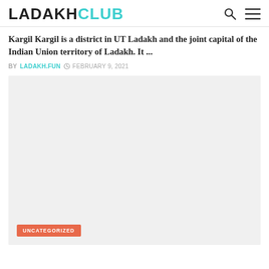LADAKHCLUB
Kargil Kargil is a district in UT Ladakh and the joint capital of the Indian Union territory of Ladakh. It ...
BY LADAKH.FUN  FEBRUARY 9, 2021
[Figure (photo): Light gray placeholder image area for an article about Kargil, Ladakh, with an UNCATEGORIZED tag badge at the bottom left.]